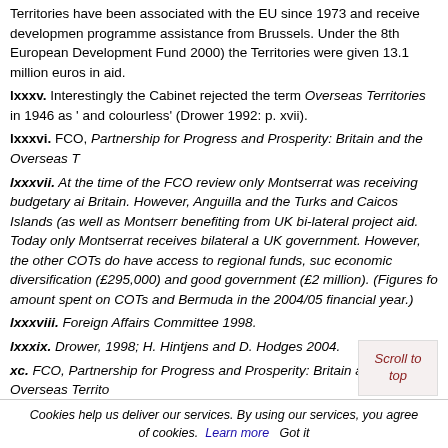Territories have been associated with the EU since 1973 and receive development programme assistance from Brussels. Under the 8th European Development Fund (2000) the Territories were given 13.1 million euros in aid.
lxxxv. Interestingly the Cabinet rejected the term Overseas Territories in 1946 as 'and colourless' (Drower 1992: p. xvii).
lxxxvi. FCO, Partnership for Progress and Prosperity: Britain and the Overseas Te...
lxxxvii. At the time of the FCO review only Montserrat was receiving budgetary aid from Britain. However, Anguilla and the Turks and Caicos Islands (as well as Montserrat) were benefiting from UK bi-lateral project aid. Today only Montserrat receives bilateral aid from the UK government. However, the other COTs do have access to regional funds, such as economic diversification (£295,000) and good government (£2 million). (Figures for amount spent on COTs and Bermuda in the 2004/05 financial year.)
lxxxviii. Foreign Affairs Committee 1998.
lxxxix. Drower, 1998; H. Hintjens and D. Hodges 2004.
xc. FCO, Partnership for Progress and Prosperity: Britain and the Overseas Territo...
xci. In 1997 Hong Kong had a population of 3.5 million.
xcii. Newcomers to the Overseas Territories were (and are still) subject in the first regulations on rights of residence in the Overseas Territory in which they wish to live; regulations differ from Territory to Territory.
xciii. Foreign Affairs Committee 1998.
xciv. FCO, Partnership for Progress and Prosperity: Britain and...
Scroll to top
Cookies help us deliver our services. By using our services, you agree of cookies. Learn more Got it